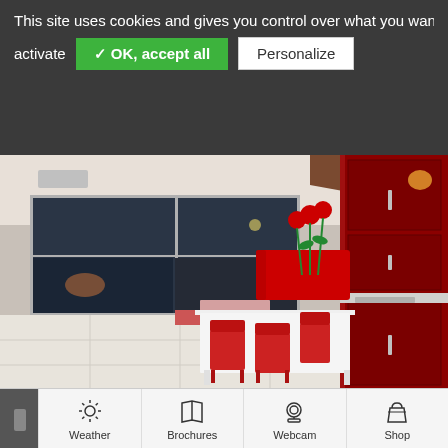This site uses cookies and gives you control over what you want to activate
activate  ✓ OK, accept all  Personalize
[Figure (photo): Interior of a modern apartment with red furniture: red sofa, red dining chairs around a white table, red kitchen cabinets, red poppy wall decorations, large windows showing an evening sky, white tiled floor.]
[Figure (infographic): Bottom navigation bar with icons and labels: Weather (sun icon), Brochures (open book icon), Webcam (camera icon), Shop (shopping bag icon). Partial dark element on the left.]